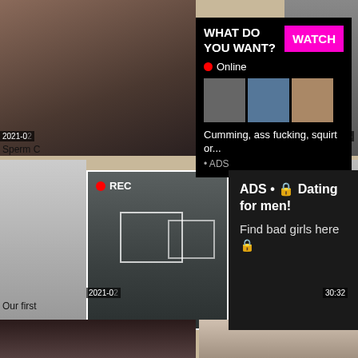[Figure (photo): Video thumbnail top left area]
[Figure (screenshot): Ad overlay: WHAT DO YOU WANT? with WATCH button, Online indicator, thumbnail images, Cumming ass fucking squirt or... ADS]
[Figure (photo): Video thumbnail top right area with timestamp 1:03]
2021-0
Sperm C
[Figure (photo): REC video thumbnail middle, selfie mirror shot]
[Figure (screenshot): Dating ad overlay: ADS • Dating for men! Find bad girls here]
2021-0
Our first
30:32
[Figure (photo): Bottom left video thumbnail]
[Figure (photo): Bottom right video thumbnail]